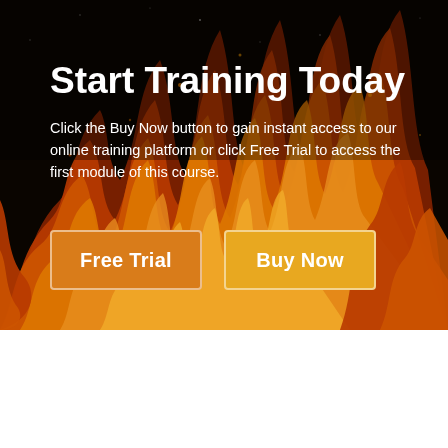[Figure (illustration): Dramatic fire/flame background image with dark black upper portion and orange-red flames rising from the bottom, covering the top two-thirds of the page]
Start Training Today
Click the Buy Now button to gain instant access to our online training platform or click Free Trial to access the first module of this course.
Free Trial | Buy Now